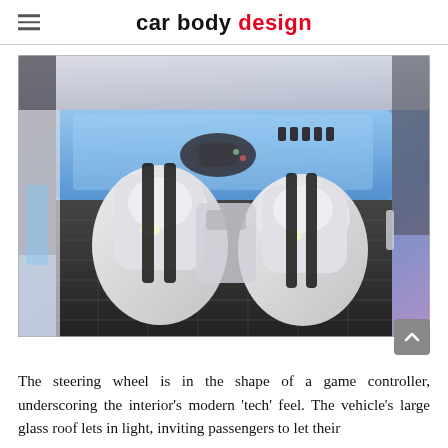car body design
[Figure (photo): Interior of a futuristic concept car showing white sculpted seats, a game controller-shaped steering wheel, illuminated blue dashboard, and a patterned floor mat, viewed from above and behind the front seats.]
The steering wheel is in the shape of a game controller, underscoring the interior's modern ‘tech’ feel. The vehicle’s large glass roof lets in light, inviting passengers to let their